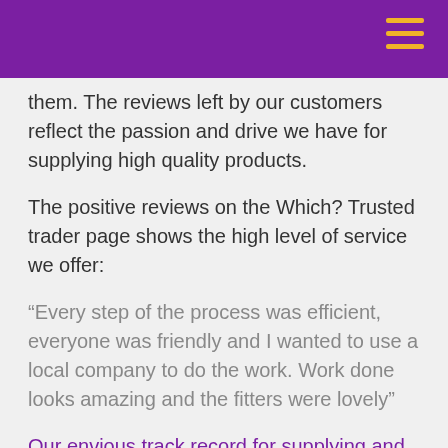them. The reviews left by our customers reflect the passion and drive we have for supplying high quality products.
The positive reviews on the Which? Trusted trader page shows the high level of service we offer:
“Every step of the process was efficient, everyone was friendly and I wanted to use a local company to do the work. Work done looks amazing and the fitters were lovely”
Our envious track record for supplying and installing high quality home improvements in a time efficient way, professional way is a testimony to how we always strive to be better than the rest. Our customer service is second to none, we also offer aftercare services for